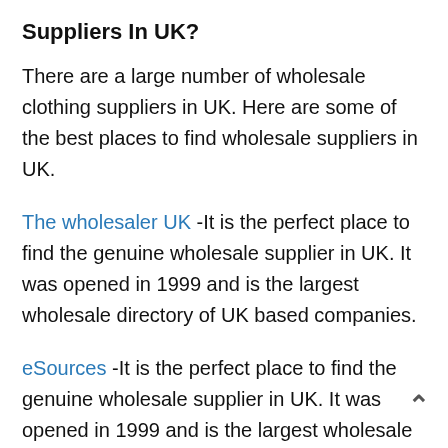Suppliers In UK?
There are a large number of wholesale clothing suppliers in UK. Here are some of the best places to find wholesale suppliers in UK.
The wholesaler UK -It is the perfect place to find the genuine wholesale supplier in UK. It was opened in 1999 and is the largest wholesale directory of UK based companies.
eSources -It is the perfect place to find the genuine wholesale supplier in UK. It was opened in 1999 and is the largest wholesale directory of UK based companies.